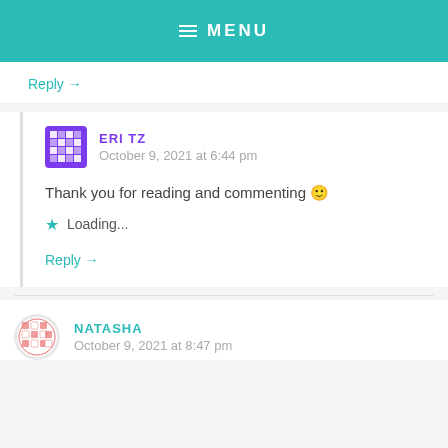MENU
Reply →
ERI TZ
October 9, 2021 at 6:44 pm
Thank you for reading and commenting 🙂
★ Loading...
Reply →
NATASHA
October 9, 2021 at 8:47 pm